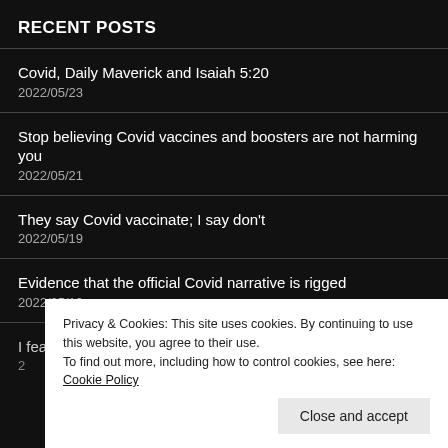RECENT POSTS
Covid, Daily Maverick and Isaiah 5:20
2022/05/23
Stop believing Covid vaccines and boosters are not harming you
2022/05/21
They say Covid vaccinate; I say don't
2022/05/19
Evidence that the official Covid narrative is rigged
2022/05/19
I fear deeply their diktat: vaccinate; so should you
2022/05/19
Privacy & Cookies: This site uses cookies. By continuing to use this website, you agree to their use.
To find out more, including how to control cookies, see here: Cookie Policy